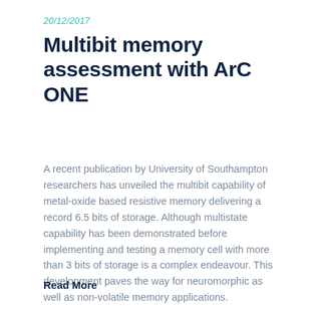20/12/2017
Multibit memory assessment with ArC ONE
A recent publication by University of Southampton researchers has unveiled the multibit capability of metal-oxide based resistive memory delivering a record 6.5 bits of storage. Although multistate capability has been demonstrated before implementing and testing a memory cell with more than 3 bits of storage is a complex endeavour. This development paves the way for neuromorphic as well as non-volatile memory applications.
Read More